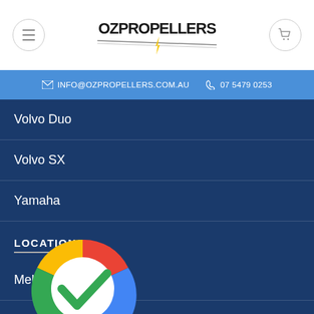OZ Propellers - header with menu, logo, and cart
INFO@OZPROPELLERS.COM.AU   07 5479 0253
Volvo Duo
Volvo SX
Yamaha
LOCATIONS
Melbourne
Sydney
Brisbane
Darwin
Canberra
[Figure (logo): Google verification checkmark badge overlaid on the page]